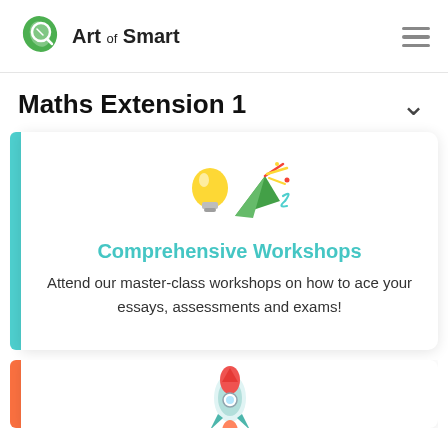[Figure (logo): Art of Smart logo with green leaf icon]
Maths Extension 1
[Figure (illustration): Light bulb and party popper emoji illustration]
Comprehensive Workshops
Attend our master-class workshops on how to ace your essays, assessments and exams!
[Figure (illustration): Rocket illustration (partially visible at bottom)]